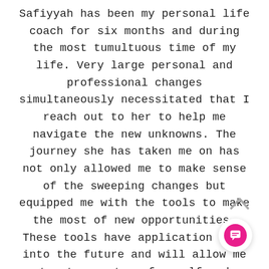Safiyyah has been my personal life coach for six months and during the most tumultuous time of my life. Very large personal and professional changes simultaneously necessitated that I reach out to her to help me navigate the new unknowns. The journey she has taken me on has not only allowed me to make sense of the sweeping changes but equipped me with the tools to make the most of new opportunities. These tools have application well into the future and will allow me to stay on top of myself and pursue the life I desire, with aplomb. To understand oneself with the help of a professional coach like Safiyyah is something I would recommend for everyone.